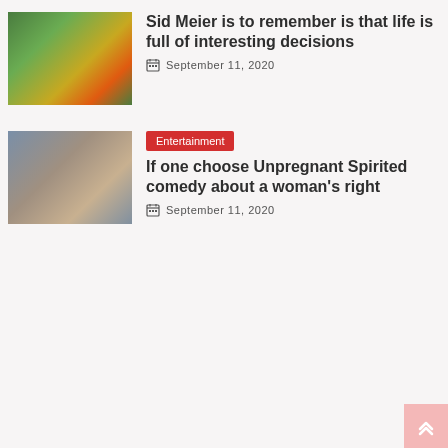[Figure (photo): Screenshot of a strategy video game showing green terrain with fire/explosion effects]
Sid Meier is to remember is that life is full of interesting decisions
September 11, 2020
[Figure (photo): Two young women in a casual setting, one with green hair, from the movie Unpregnant]
Entertainment
If one choose Unpregnant Spirited comedy about a woman's right
September 11, 2020